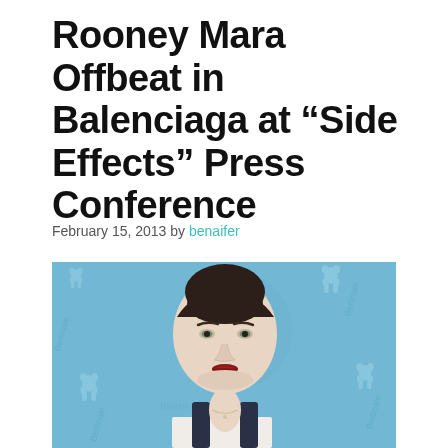Rooney Mara Offbeat in Balenciaga at “Side Effects” Press Conference
February 15, 2013 by benaifer
[Figure (photo): Rooney Mara at a press conference with a light blue background featuring Berlinale bear logos. She has dark hair pulled back, wearing a navy and white dress, with red lips.]